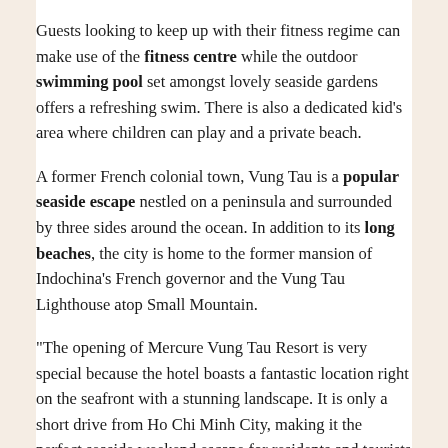Guests looking to keep up with their fitness regime can make use of the fitness centre while the outdoor swimming pool set amongst lovely seaside gardens offers a refreshing swim. There is also a dedicated kid's area where children can play and a private beach.
A former French colonial town, Vung Tau is a popular seaside escape nestled on a peninsula and surrounded by three sides around the ocean. In addition to its long beaches, the city is home to the former mansion of Indochina's French governor and the Vung Tau Lighthouse atop Small Mountain.
“The opening of Mercure Vung Tau Resort is very special because the hotel boasts a fantastic location right on the seafront with a stunning landscape. It is only a short drive from Ho Chi Minh City, making it the perfect seaside weekend escape for residents and tourists to the popular southern city,” said Anthony